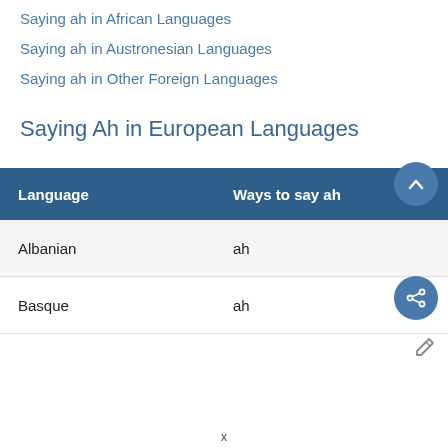Saying ah in African Languages
Saying ah in Austronesian Languages
Saying ah in Other Foreign Languages
Saying Ah in European Languages
| Language | Ways to say ah |
| --- | --- |
| Albanian | ah |
| Basque | ah |